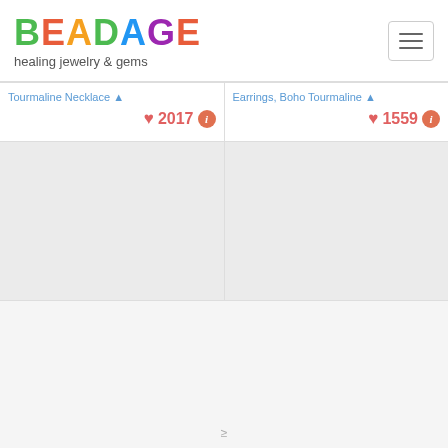BEADAGE healing jewelry & gems
Tourmaline Necklace ♥ 2017 ℹ
Earrings, Boho Tourmaline ♥ 1559 ℹ
[Figure (screenshot): Two product card placeholders with gray background, showing no images loaded]
≥